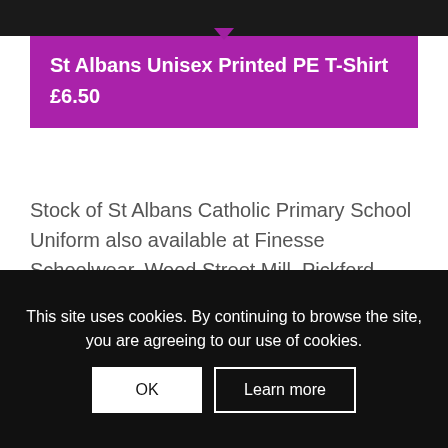[Figure (screenshot): Dark top bar with diamond/chevron pointing down in purple]
St Albans Unisex Printed PE T-Shirt
£6.50
Stock of St Albans Catholic Primary School Uniform also available at Finesse Schoolwear, Wood Street Mill, Pickford Street, Macclesfield, Cheshire, SK11 6JD, Tel: 01625 616986
This site uses cookies. By continuing to browse the site, you are agreeing to our use of cookies.
OK
Learn more